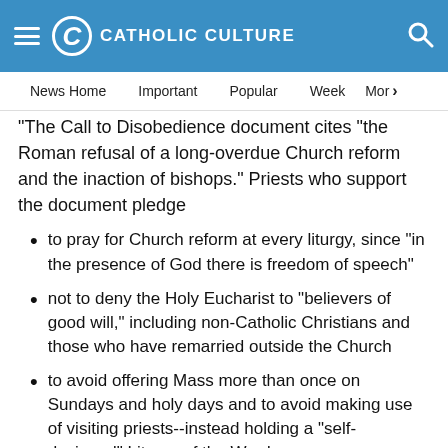CATHOLIC CULTURE
News Home   Important   Popular   Week   More
"The Call to Disobedience document cites "the Roman refusal of a long-overdue Church reform and the inaction of bishops." Priests who support the document pledge
to pray for Church reform at every liturgy, since "in the presence of God there is freedom of speech"
not to deny the Holy Eucharist to "believers of good will," including non-Catholic Christians and those who have remarried outside the Church
to avoid offering Mass more than once on Sundays and holy days and to avoid making use of visiting priests--instead holding a "self-designed" Liturgy of the Word
to describe such a Liturgy of the Word with the